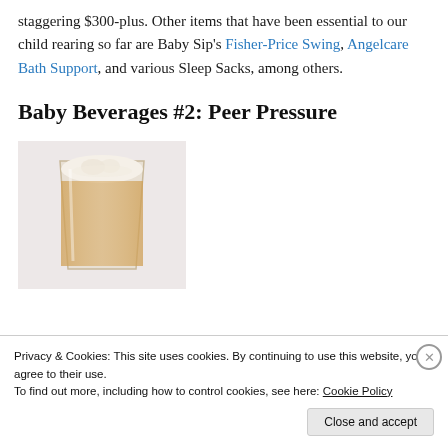staggering $300-plus. Other items that have been essential to our child rearing so far are Baby Sip's Fisher-Price Swing, Angelcare Bath Support, and various Sleep Sacks, among others.
Baby Beverages #2: Peer Pressure
[Figure (photo): A glass with a creamy/frothy beverage, light pinkish-beige background]
Privacy & Cookies: This site uses cookies. By continuing to use this website, you agree to their use.
To find out more, including how to control cookies, see here: Cookie Policy